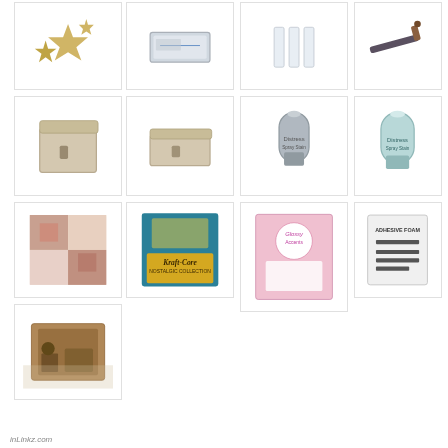[Figure (photo): Gold decorative stars craft embellishments]
[Figure (photo): Clear acrylic/plastic storage box with lid]
[Figure (photo): White glue sticks or adhesive strips]
[Figure (photo): Craft tool - stylus or embossing tool]
[Figure (photo): Kraft paper storage box with lid (tall)]
[Figure (photo): Kraft paper storage box flat/low profile]
[Figure (photo): Distress Spray Stain silver bottle]
[Figure (photo): Distress Spray Stain light blue bottle]
[Figure (photo): Patterned scrapbook paper pad with Christmas/holiday prints]
[Figure (photo): Kraft-Core Nostalgic Collection paper pad by Tim Holtz]
[Figure (photo): Glossy Accents craft adhesive gloss medium bottle in pink packaging]
[Figure (photo): Adhesive foam sheets package]
[Figure (photo): Vintage style decorated box/chest craft project photo]
inLinkz.com